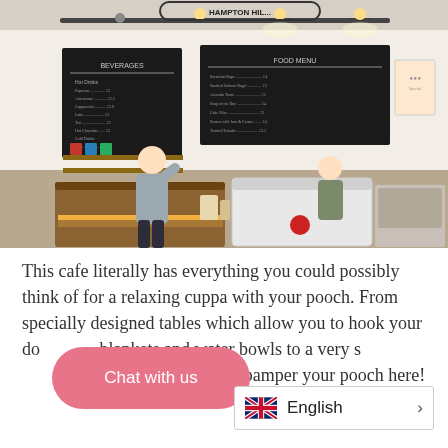[Figure (photo): Interior of Hampton Hill cafe showing a counter with two staff members, chalkboard menus on the walls, shelving with products, and equipment including a chest freezer. Track lighting on the ceiling.]
This cafe literally has everything you could possibly think of for a relaxing cuppa with your pooch. From specially designed tables which allow you to hook your do[g leash], blankets and water bowls to a very sp[ecial menu], there's no excuse not to pamper your pooch here!